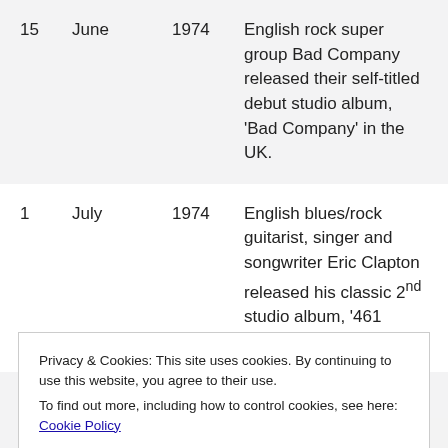| Day | Month | Year | Description |
| --- | --- | --- | --- |
| 15 | June | 1974 | English rock super group Bad Company released their self-titled debut studio album, 'Bad Company' in the UK. |
| 1 | July | 1974 | English blues/rock guitarist, singer and songwriter Eric Clapton released his classic 2nd studio album, '461 Ocean Boulevard'. |
|  |  |  | Highly acclaimed Irish blues/rock guitarist Rory ... songwriter and guitarist Neil |
Privacy & Cookies: This site uses cookies. By continuing to use this website, you agree to their use.
To find out more, including how to control cookies, see here: Cookie Policy